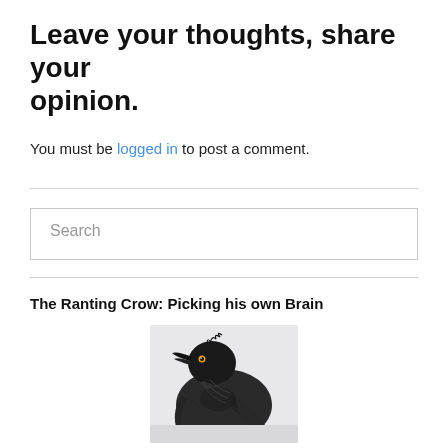Leave your thoughts, share your opinion.
You must be logged in to post a comment.
Search
The Ranting Crow: Picking his own Brain
[Figure (photo): A detailed pencil/graphite illustration of a crow (raven) looking upward, with ruffled feathers, on a light background.]